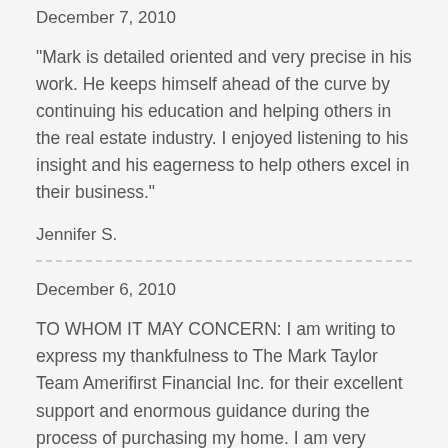December 7, 2010
“Mark is detailed oriented and very precise in his work. He keeps himself ahead of the curve by continuing his education and helping others in the real estate industry. I enjoyed listening to his insight and his eagerness to help others excel in their business.”
Jennifer S.
December 6, 2010
TO WHOM IT MAY CONCERN: I am writing to express my thankfulness to The Mark Taylor Team Amerifirst Financial Inc. for their excellent support and enormous guidance during the process of purchasing my home. I am very pleased with their service to the homebuyer because in this competitive market economy the team